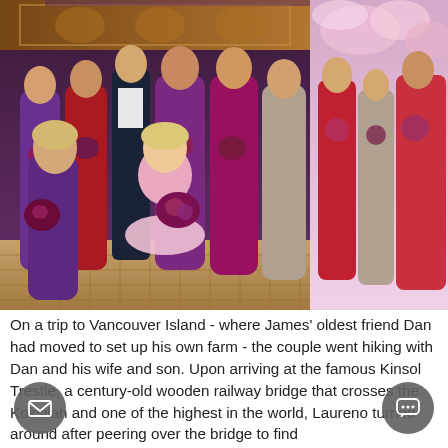[Figure (photo): Wedding party photo showing bridesmaids in purple, magenta, red, and taupe gowns holding bouquets of red and purple flowers, two young girls in pink dresses in the foreground, inside an ornate venue with wooden carvings and decorative floor tiles. A second outdoor photo with bridesmaids in front of cherry blossoms is partially visible in the upper right corner.]
On a trip to Vancouver Island - where James' oldest friend Dan had moved to set up his own farm - the couple went hiking with Dan and his wife and son. Upon arriving at the famous Kinsol Trestle, a century-old wooden railway bridge that crosses the Koksilah and one of the highest in the world, Laureno turned around after peering over the bridge to find